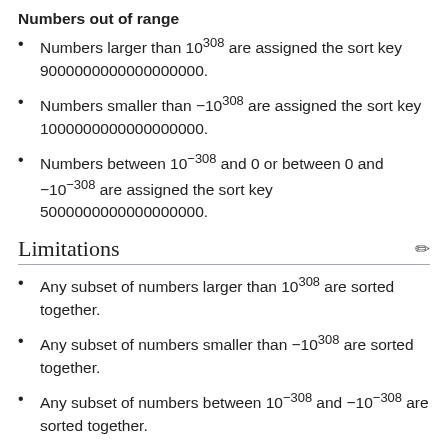Numbers out of range
Numbers larger than 10^308 are assigned the sort key 9000000000000000000.
Numbers smaller than −10^308 are assigned the sort key 1000000000000000000.
Numbers between 10^−308 and 0 or between 0 and −10^−308 are assigned the sort key 5000000000000000000.
Limitations
Any subset of numbers larger than 10^308 are sorted together.
Any subset of numbers smaller than −10^308 are sorted together.
Any subset of numbers between 10^−308 and −10^−308 are sorted together.